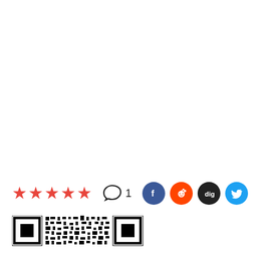[Figure (other): Five red star rating icons, a comment bubble icon with '1', and four social media share icons (Facebook, Reddit, Digg, Twitter)]
[Figure (other): QR code partially visible at bottom of page]